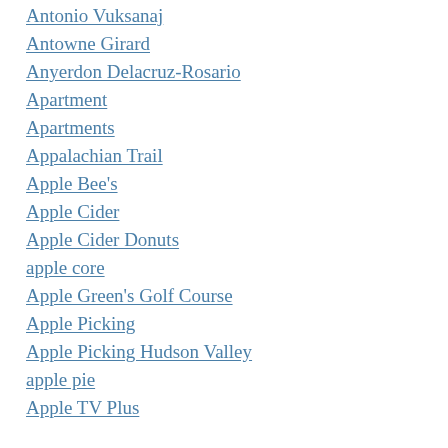Antonio Vuksanaj
Antowne Girard
Anyerdon Delacruz-Rosario
Apartment
Apartments
Appalachian Trail
Apple Bee's
Apple Cider
Apple Cider Donuts
apple core
Apple Green's Golf Course
Apple Picking
Apple Picking Hudson Valley
apple pie
Apple TV Plus